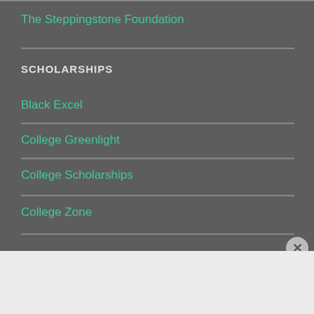The Steppingstone Foundation
SCHOLARSHIPS
Black Excel
College Greenlight
College Scholarships
College Zone
Advertisements
ThePlatform Where WordPress Works Best  Pressable